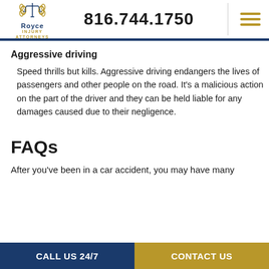Royce Injury Attorneys | 816.744.1750
Aggressive driving
Speed thrills but kills. Aggressive driving endangers the lives of passengers and other people on the road. It's a malicious action on the part of the driver and they can be held liable for any damages caused due to their negligence.
FAQs
After you've been in a car accident, you may have many
CALL US 24/7 | CONTACT US